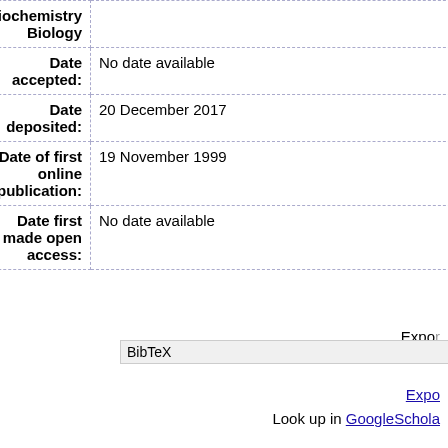| Field | Value |
| --- | --- |
| Society for Biochemistry Biology |  |
| Date accepted: | No date available |
| Date deposited: | 20 December 2017 |
| Date of first online publication: | 19 November 1999 |
| Date first made open access: | No date available |
Export
BibTeX
Export
Look up in GoogleScholar
Last Modified: